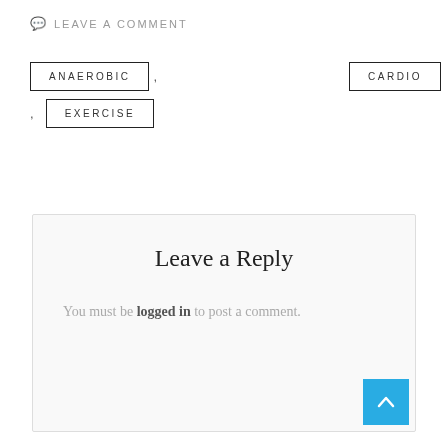LEAVE A COMMENT
ANAEROBIC , CARDIO , EXERCISE
Leave a Reply
You must be logged in to post a comment.